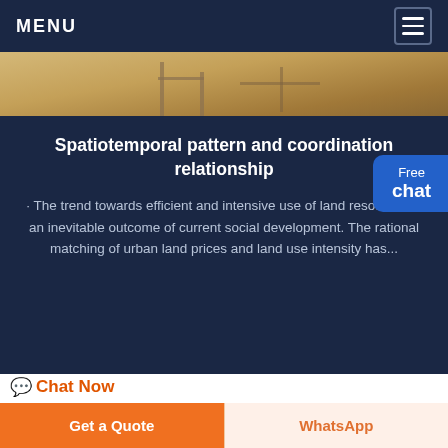MENU
[Figure (photo): Construction site aerial photo showing sandy ground and equipment]
Spatiotemporal pattern and coordination relationship
· The trend towards efficient and intensive use of land resources is an inevitable outcome of current social development. The rational matching of urban land prices and land use intensity has...
💬 Chat Now
[Figure (photo): Partial view of another image at bottom of page]
Get a Quote
WhatsApp